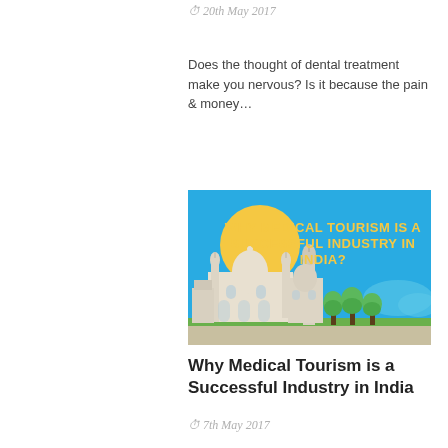⏱ 20th May 2017
Does the thought of dental treatment make you nervous? Is it because the pain & money...
[Figure (illustration): Infographic showing Taj Mahal and mosque silhouettes against a bright blue sky with a yellow sun, green trees in the foreground, with bold yellow text reading 'WHY MEDICAL TOURISM IS A SUCCESSFUL INDUSTRY IN INDIA?']
Why Medical Tourism is a Successful Industry in India
⏱ 7th May 2017